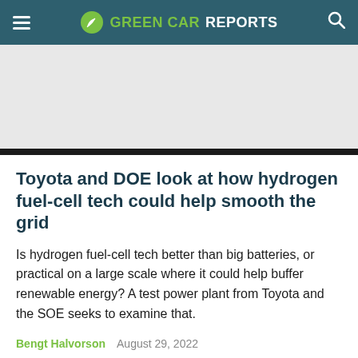GREEN CAR REPORTS
Toyota and DOE look at how hydrogen fuel-cell tech could help smooth the grid
Is hydrogen fuel-cell tech better than big batteries, or practical on a large scale where it could help buffer renewable energy? A test power plant from Toyota and the SOE seeks to examine that.
Bengt Halvorson   August 29, 2022